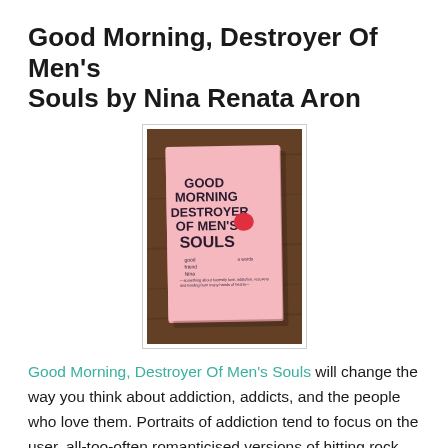Good Morning, Destroyer Of Men's Souls by Nina Renata Aron
[Figure (photo): Photo of the book 'Good Morning Destroyer Of Men's Souls' laying on a wooden surface. The book has a pink cover with bold stylized text and a red heart graphic.]
Good Morning, Destroyer Of Men's Souls will change the way you think about addiction, addicts, and the people who love them. Portraits of addiction tend to focus on the user, all-too-often romanticised versions of hitting rock bottom and finding the strength and will to stay sober. But what of the people who love them? They become the comma, not the bloody, raw, and